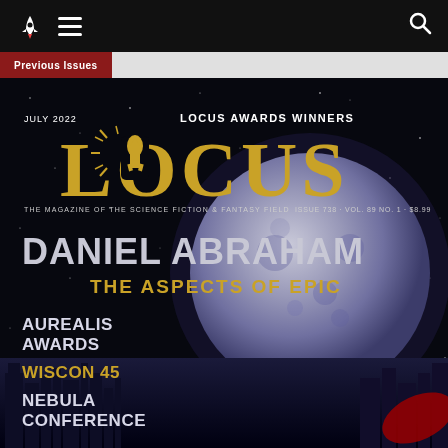navigation bar with rocket icon, hamburger menu, and search icon
Previous Issues
[Figure (photo): Cover of Locus Magazine July 2022. Dark space background with large moon and futuristic city skyline. Text: LOCUS AWARDS WINNERS / JULY 2022 / LOCUS (large logo with rocket in O) / THE MAGAZINE OF THE SCIENCE FICTION & FANTASY FIELD / ISSUE 738 · VOL. 89 NO. 1 · $8.99 / DANIEL ABRAHAM / THE ASPECTS OF EPIC / AUREALIS AWARDS / WISCON 45 / NEBULA CONFERENCE]